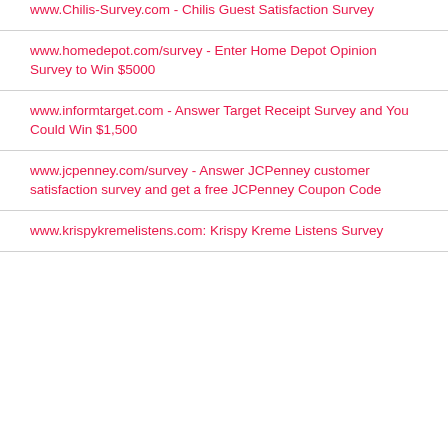www.Chilis-Survey.com - Chilis Guest Satisfaction Survey
www.homedepot.com/survey - Enter Home Depot Opinion Survey to Win $5000
www.informtarget.com - Answer Target Receipt Survey and You Could Win $1,500
www.jcpenney.com/survey - Answer JCPenney customer satisfaction survey and get a free JCPenney Coupon Code
www.krispykremelistens.com: Krispy Kreme Listens Survey